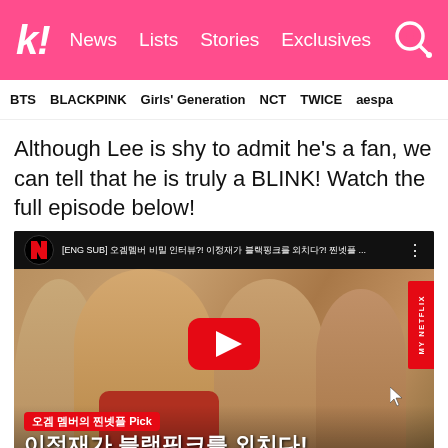koreaboo | News | Lists | Stories | Exclusives
BTS | BLACKPINK | Girls' Generation | NCT | TWICE | aespa
Although Lee is shy to admit he's a fan, we can tell that he is truly a BLINK! Watch the full episode below!
[Figure (screenshot): YouTube video thumbnail showing Netflix My Netflix Korean variety show with Korean actors, title in Korean: [ENG SUB] ... Korean text overlay at bottom reading '오겜 멤버의 찐넷플 Pick' in red pill and '이정재가 블랙핑크를 외치다!' in white large text. Red YouTube play button in center.]